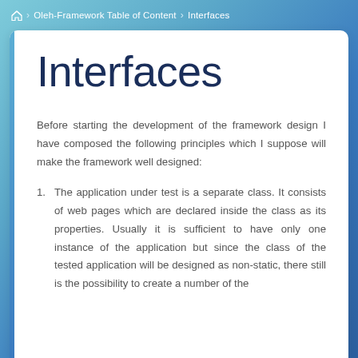🏠 > Oleh-Framework Table of Content > Interfaces
Interfaces
Before starting the development of the framework design I have composed the following principles which I suppose will make the framework well designed:
1. The application under test is a separate class. It consists of web pages which are declared inside the class as its properties. Usually it is sufficient to have only one instance of the application but since the class of the tested application will be designed as non-static, there still is the possibility to create a number of the